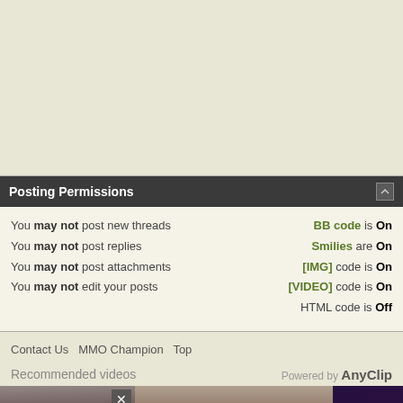Posting Permissions
You may not post new threads
You may not post replies
You may not post attachments
You may not edit your posts
BB code is On
Smilies are On
[IMG] code is On
[VIDEO] code is On
HTML code is Off
Contact Us   MMO Champion   Top
Recommended videos
Powered by AnyClip
[Figure (screenshot): Video thumbnail and advertisement banner showing 'Patch' label and Macy's lip advertisement]